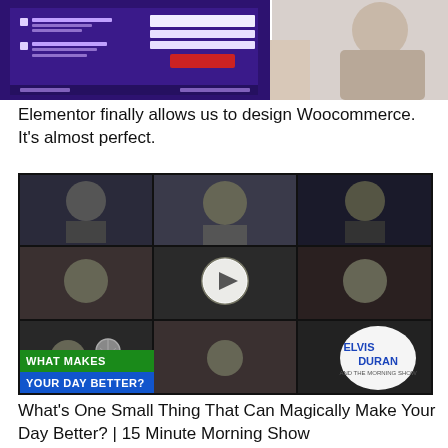[Figure (screenshot): Screenshot of a Woocommerce design interface in Elementor with purple/white UI and a hand/person on the right side]
Elementor finally allows us to design Woocommerce. It's almost perfect.
[Figure (screenshot): Video thumbnail showing a grid of podcast/show participants with text 'WHAT MAKES YOUR DAY BETTER?' and Elvis Duran logo, with a play button overlay]
What's One Small Thing That Can Magically Make Your Day Better? | 15 Minute Morning Show